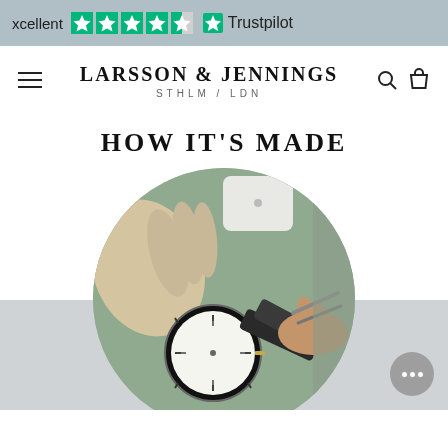[Figure (screenshot): Trustpilot banner showing 'xcellent' rating with 4.5 green stars and Trustpilot logo]
LARSSON & JENNINGS
STHLM / LDN
HOW IT'S MADE
[Figure (photo): Circular cropped photo of a watchmaker's hands assembling a watch, attaching a strap to a white-faced round watch on a green-grey worktable, with latex gloves visible]